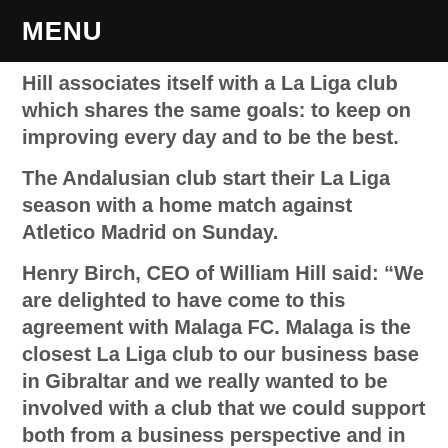MENU
Hill associates itself with a La Liga club which shares the same goals: to keep on improving every day and to be the best.
The Andalusian club start their La Liga season with a home match against Atletico Madrid on Sunday.
Henry Birch, CEO of William Hill said: “We are delighted to have come to this agreement with Malaga FC. Malaga is the closest La Liga club to our business base in Gibraltar and we really wanted to be involved with a club that we could support both from a business perspective and in person to share the passion that La Liga